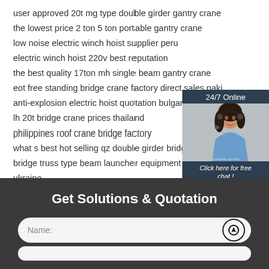user approved 20t mg type double girder gantry crane
the lowest price 2 ton 5 ton portable gantry crane
low noise electric winch hoist supplier peru
electric winch hoist 220v best reputation
the best quality 17ton mh single beam gantry crane
eot free standing bridge crane factory direct sales paki
anti-explosion electric hoist quotation bulgaria
lh 20t bridge crane prices thailand
philippines roof crane bridge factory
what s best hot selling qz double girder bridge crane
bridge truss type beam launcher equipment factory dir
ukraine
america 18 5 ton jib crane brand
[Figure (other): 24/7 Online chat widget with a woman wearing a headset, button saying 'Click here for free chat!' and an orange QUOTATION button]
Get Solutions & Quotation
Name: [form field with upload icon]